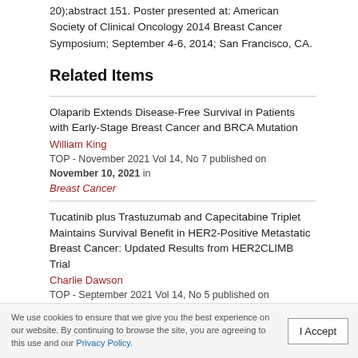20);abstract 151. Poster presented at: American Society of Clinical Oncology 2014 Breast Cancer Symposium; September 4-6, 2014; San Francisco, CA.
Related Items
Olaparib Extends Disease-Free Survival in Patients with Early-Stage Breast Cancer and BRCA Mutation
William King
TOP - November 2021 Vol 14, No 7 published on November 10, 2021 in Breast Cancer
Tucatinib plus Trastuzumab and Capecitabine Triplet Maintains Survival Benefit in HER2-Positive Metastatic Breast Cancer: Updated Results from HER2CLIMB Trial
Charlie Dawson
TOP - September 2021 Vol 14, No 5 published on September 7, 2021 in Breast Cancer
Cryoablation Appears Safe and Effective in Low-Risk, Early-Stage Breast Cancer
William Ackerman
TOP - July 2021 Vol 14, No 4 published on July 20, 2021 in Breast Cancer
Pembrolizumab plus Chemotherapy...
We use cookies to ensure that we give you the best experience on our website. By continuing to browse the site, you are agreeing to this use and our Privacy Policy.